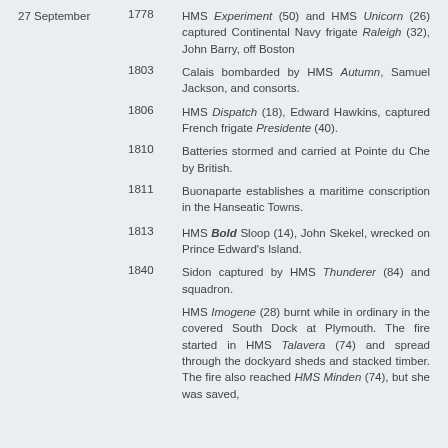27 September 1778: HMS Experiment (50) and HMS Unicorn (26) captured Continental Navy frigate Raleigh (32), John Barry, off Boston
1803: Calais bombarded by HMS Autumn, Samuel Jackson, and consorts.
1806: HMS Dispatch (18), Edward Hawkins, captured French frigate Presidente (40).
1810: Batteries stormed and carried at Pointe du Che by British.
1811: Buonaparte establishes a maritime conscription in the Hanseatic Towns.
1813: HMS Bold Sloop (14), John Skekel, wrecked on Prince Edward's Island.
1840: Sidon captured by HMS Thunderer (84) and squadron.
HMS Imogene (28) burnt while in ordinary in the covered South Dock at Plymouth. The fire started in HMS Talavera (74) and spread through the dockyard sheds and stacked timber. The fire also reached HMS Minden (74), but she was saved,